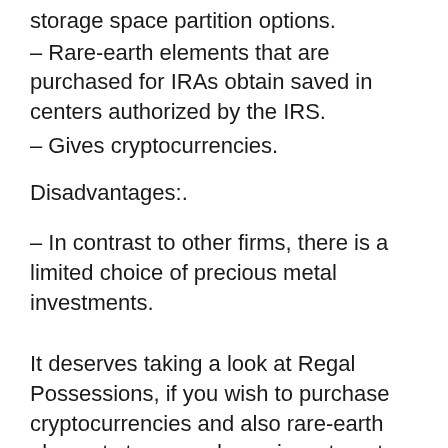storage space partition options.
– Rare-earth elements that are purchased for IRAs obtain saved in centers authorized by the IRS.
– Gives cryptocurrencies.
Disadvantages:.
– In contrast to other firms, there is a limited choice of precious metal investments.
It deserves taking a look at Regal Possessions, if you wish to purchase cryptocurrencies and also rare-earth elements to expand your investment portfolio. The owner of Regal Possessions, Tyler Gallagher, set up the business more than a decade back. Ever since, it has